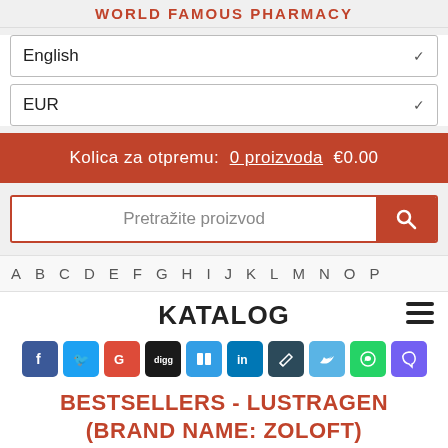WORLD FAMOUS PHARMACY
English
EUR
Kolica za otpremu: 0 proizvoda  €0.00
Pretražite proizvod
A B C D E F G H I J K L M N O P
KATALOG
[Figure (infographic): Social media sharing icons: Facebook, Twitter, Google, Digg, Delicious, LinkedIn, Pencil, Bird, WhatsApp, Viber]
BESTSELLERS - LUSTRAGEN (BRAND NAME: ZOLOFT)